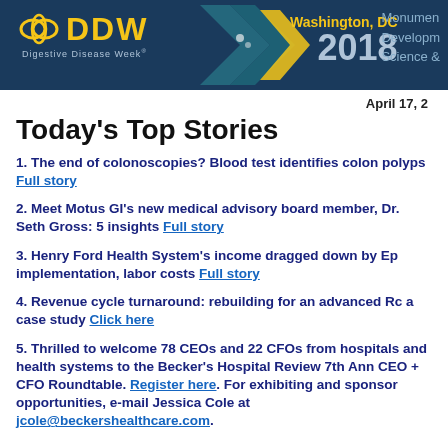[Figure (logo): DDW Digestive Disease Week 2018 banner with Washington DC text and monument graphic]
April 17, 2
Today's Top Stories
1. The end of colonoscopies? Blood test identifies colon polyps Full story
2. Meet Motus GI's new medical advisory board member, Dr. Seth Gross: 5 insights Full story
3. Henry Ford Health System's income dragged down by Ep implementation, labor costs Full story
4. Revenue cycle turnaround: rebuilding for an advanced Rc a case study Click here
5. Thrilled to welcome 78 CEOs and 22 CFOs from hospitals and health systems to the Becker's Hospital Review 7th Ann CEO + CFO Roundtable. Register here. For exhibiting and sponsor opportunities, e-mail Jessica Cole at jcole@beckershealthcare.com.